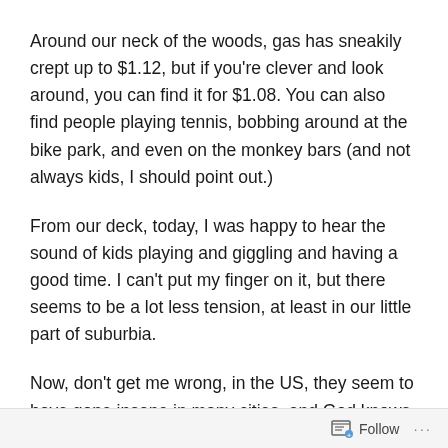Around our neck of the woods, gas has sneakily crept up to $1.12, but if you're clever and look around, you can find it for $1.08. You can also find people playing tennis, bobbing around at the bike park, and even on the monkey bars (and not always kids, I should point out.)
From our deck, today, I was happy to hear the sound of kids playing and giggling and having a good time. I can't put my finger on it, but there seems to be a lot less tension, at least in our little part of suburbia.
Now, don't get me wrong, in the US, they seem to have gone insane in many cities, and God knows what that nutjob in North Korea is doing, but here, we're at peace, mowing lawns, power-washing driveways, and waving at
Follow ···